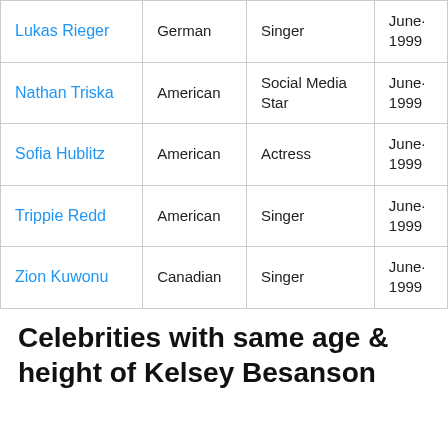| Name | Nationality | Profession | Born |
| --- | --- | --- | --- |
| Lukas Rieger | German | Singer | June· 1999 |
| Nathan Triska | American | Social Media Star | June· 1999 |
| Sofia Hublitz | American | Actress | June· 1999 |
| Trippie Redd | American | Singer | June· 1999 |
| Zion Kuwonu | Canadian | Singer | June· 1999 |
Celebrities with same age & height of Kelsey Besanson